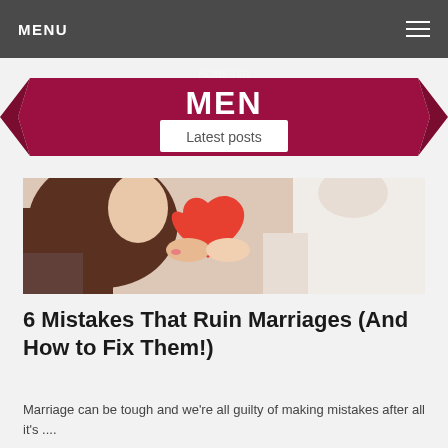MENU
[Figure (illustration): Website banner with ribbon design showing 'MEN' in large white bold text and 'Latest posts' subtitle on a dark crimson/maroon ribbon banner graphic]
[Figure (photo): Couple holding a large red paper heart together, woman with long brown hair on left, man in white shirt on right, close-up shot]
6 Mistakes That Ruin Marriages (And How to Fix Them!)
Marriage can be tough and we're all guilty of making mistakes after all it's ....